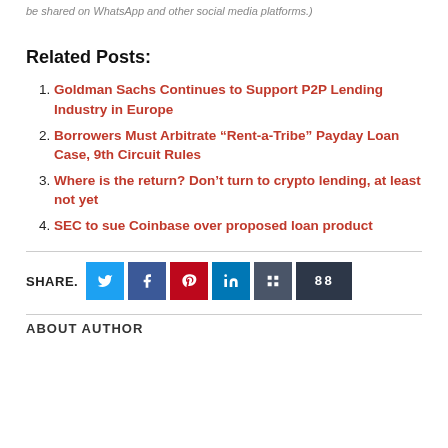be shared on WhatsApp and other social media platforms.)
Related Posts:
Goldman Sachs Continues to Support P2P Lending Industry in Europe
Borrowers Must Arbitrate “Rent-a-Tribe” Payday Loan Case, 9th Circuit Rules
Where is the return? Don’t turn to crypto lending, at least not yet
SEC to sue Coinbase over proposed loan product
SHARE.
ABOUT AUTHOR